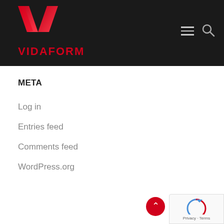[Figure (logo): Vidaform logo: red V chevron shape above red VIDAFORM text on dark background header]
META
Log in
Entries feed
Comments feed
WordPress.org